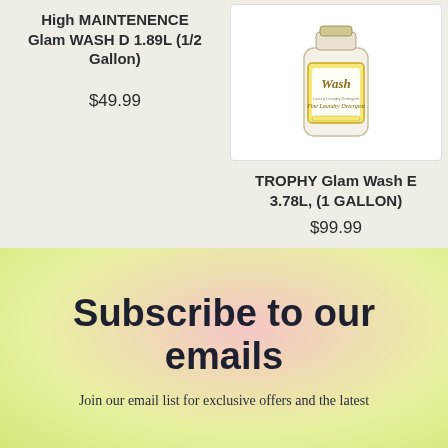High MAINTENENCE Glam WASH D 1.89L (1/2 Gallon)
$49.99
[Figure (photo): Product bottle labeled 'Wash' with gold decorative label, luxury laundry detergent]
TROPHY Glam Wash E 3.78L, (1 GALLON)
$99.99
Subscribe to our emails
Join our email list for exclusive offers and the latest